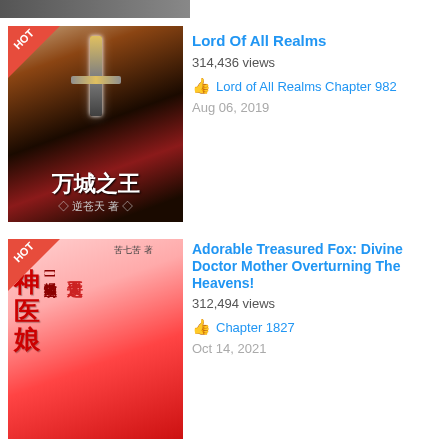[Figure (illustration): Partial book cover visible at top of page, mostly cropped]
[Figure (illustration): Book cover for 'Lord Of All Realms' (万城之王) showing a sword in dramatic red/dark sky scene with Chinese text]
Lord Of All Realms
314,436 views
Lord of All Realms Chapter 982
Aug 06, 2019
[Figure (illustration): Book cover for 'Adorable Treasured Fox: Divine Doctor Mother Overturning The Heavens!' showing a woman in red dress with Chinese text]
Adorable Treasured Fox: Divine Doctor Mother Overturning The Heavens!
312,494 views
Chapter 1827
Oct 14, 2021